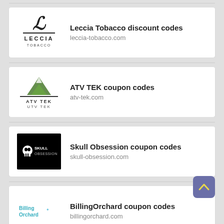[Figure (logo): Leccia Tobacco logo with stylized L letter and LECCIA TOBACCO text]
Leccia Tobacco discount codes
leccia-tobacco.com
[Figure (logo): ATV TEK / UTV TEK logo with mountain graphic]
ATV TEK coupon codes
atv-tek.com
[Figure (logo): Skull Obsession logo on black background]
Skull Obsession coupon codes
skull-obsession.com
[Figure (logo): BillingOrchard logo in teal/blue text]
BillingOrchard coupon codes
billingorchard.com